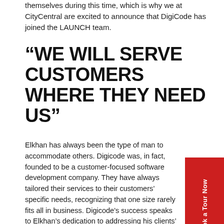themselves during this time, which is why we at CityCentral are excited to announce that DigiCode has joined the LAUNCH team.
“WE WILL SERVE CUSTOMERS WHERE THEY NEED US”
Elkhan has always been the type of man to accommodate others. Digicode was, in fact, founded to be a customer-focused software development company. They have always tailored their services to their customers’ specific needs, recognizing that one size rarely fits all in business. Digicode’s success speaks to Elkhan’s dedication to addressing his clients’ needs in a cost-efficient manner. With client ranging from startups to Fortune50 companies, Elkhan’s loyalty to his customers is repaid to him in kind.